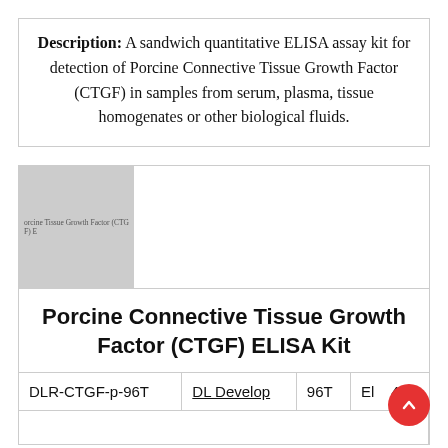Description: A sandwich quantitative ELISA assay kit for detection of Porcine Connective Tissue Growth Factor (CTGF) in samples from serum, plasma, tissue homogenates or other biological fluids.
[Figure (photo): Product image placeholder showing text 'orcine Tissue Growth Factor (CTGF) E' in small font on a gray background]
Porcine Connective Tissue Growth Factor (CTGF) ELISA Kit
| DLR-CTGF-p-96T | DL Develop | 96T | El...41 |